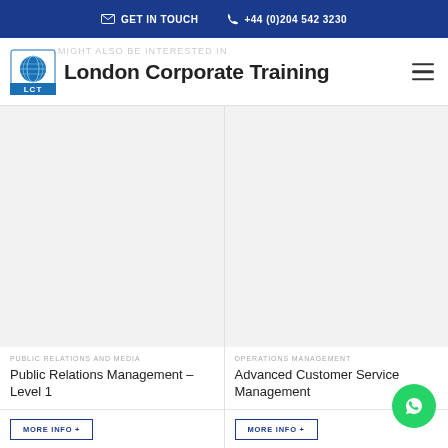GET IN TOUCH   +44 (0)204 542 3230
[Figure (logo): London Corporate Training (LCT) logo with globe icon]
London Corporate Training
MIGHT ALSO BE INTERESTED IN
PUBLIC RELATIONS AND MEDIA
Public Relations Management – Level 1
MORE INFO +
OPERATIONS MANAGEMENT
Advanced Customer Service Management
MORE INFO +